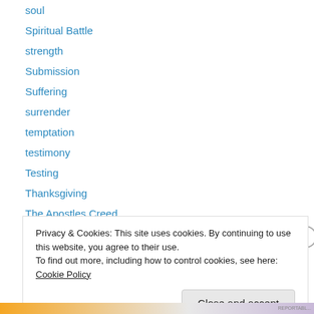soul
Spiritual Battle
strength
Submission
Suffering
surrender
temptation
testimony
Testing
Thanksgiving
The Apostles Creed
The Lord's Prayer
theology
Privacy & Cookies: This site uses cookies. By continuing to use this website, you agree to their use. To find out more, including how to control cookies, see here: Cookie Policy